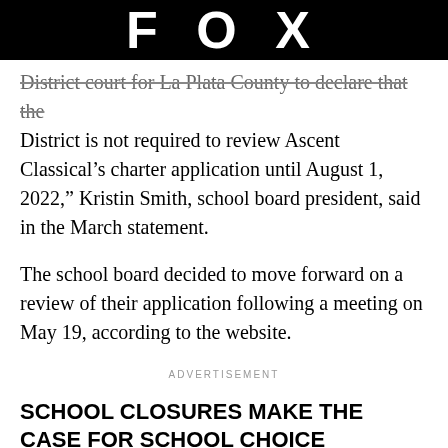FOX
District court for La Plata County to declare that the District is not required to review Ascent Classical’s charter application until August 1, 2022,” Kristin Smith, school board president, said in the March statement.
The school board decided to move forward on a review of their application following a meeting on May 19, according to the website.
ADVERTISEMENT
SCHOOL CLOSURES MAKE THE CASE FOR SCHOOL CHOICE
“It’s a tight timeline, but we are taking the time to set up extra public meetings,” Smith said on May 23. “We know